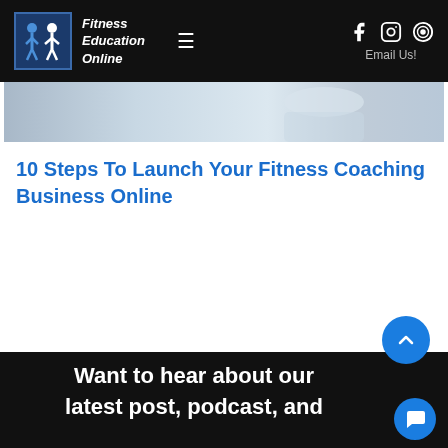Fitness Education Online — Email Us!
[Figure (photo): Partial view of a person in a light blue/grey setting, cropped image strip]
10 Steps To Launch Your Fitness Coaching Business Online
[Figure (other): Blue circular scroll-to-top button with chevron up icon]
Want to hear about our latest post, podcast, and
[Figure (other): Blue circular chat widget button]